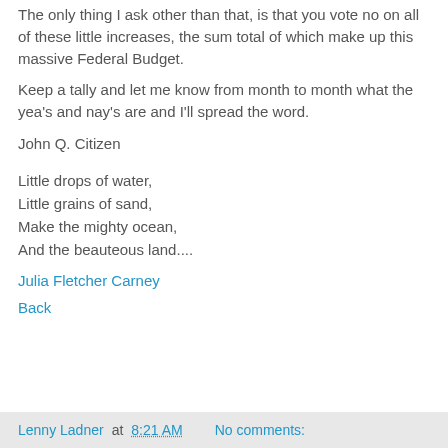The only thing I ask other than that, is that you vote no on all of these little increases, the sum total of which make up this massive Federal Budget.
Keep a tally and let me know from month to month what the yea's and nay's are and I'll spread the word.
John Q. Citizen
Little drops of water,
Little grains of sand,
Make the mighty ocean,
And the beauteous land....
Julia Fletcher Carney
Back
Lenny Ladner at 8:21 AM   No comments: